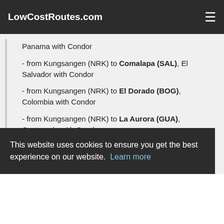LowCostRoutes.com
Panama with Condor
- from Kungsangen (NRK) to Comalapa (SAL), El Salvador with Condor
- from Kungsangen (NRK) to El Dorado (BOG), Colombia with Condor
- from Kungsangen (NRK) to La Aurora (GUA), Guatemala with Condor
- from Kungsangen (NRK) to Managua (MGA), Nicaragua with Condor
- from Kungsangen (NRK) to Managua (MGA)
This website uses cookies to ensure you get the best experience on our website. Learn more